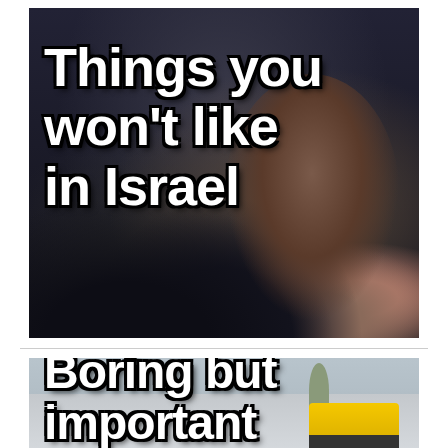[Figure (photo): A crowded indoor scene, possibly a bus station or checkpoint in Israel, with people packed together in a dimly lit corridor. Text overlay reads 'Things you won't like in Israel' in large white bold Impact font with black outline.]
[Figure (photo): An outdoor street scene showing buildings, a yellow taxi cab, and bare trees in winter. Text overlay reads 'Boring but important' in large white bold Impact font with black outline, partially cropped at bottom.]